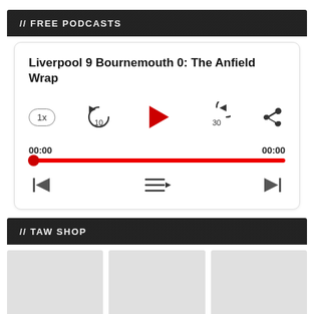// FREE PODCASTS
[Figure (screenshot): Podcast audio player card for 'Liverpool 9 Bournemouth 0: The Anfield Wrap' with playback controls, progress bar showing 00:00 / 00:00, and transport buttons.]
// TAW SHOP
[Figure (photo): Three product image placeholders for the TAW Shop section, shown as light grey rectangles.]